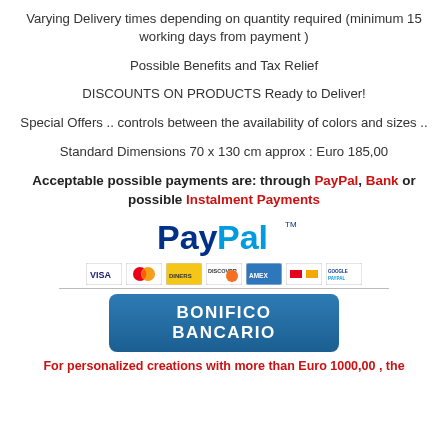Varying Delivery times  depending on quantity required (minimum 15 working days from payment )
Possible Benefits and Tax Relief
DISCOUNTS ON PRODUCTS Ready to Deliver!
Special Offers .. controls between the availability of colors and sizes ..
Standard Dimensions 70 x 130 cm approx : Euro 185,00
Acceptable  possible payments are:  through PayPal, Bank or possible Instalment Payments
[Figure (logo): PayPal logo with credit card icons (VISA, MasterCard, Diners, Discover, Amex, and others) and a horizontal divider line]
[Figure (other): BONIFICO BANCARIO button - blue rounded rectangle button with white bold text]
For personalized creations with more than Euro 1000,00 , the